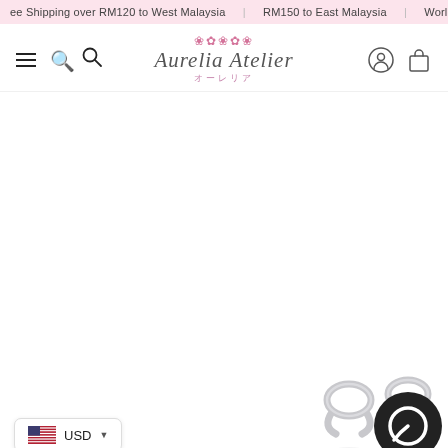ee Shipping over RM120 to West Malaysia | RM150 to East Malaysia | Worldwi
[Figure (logo): Aurelia Atelier logo with pink floral decoration and Japanese subtitle text オーレリア]
[Figure (photo): Two silver interlocking loop earrings displayed side by side with reflections below]
[Figure (other): Black circular chat/messenger icon button in bottom right]
USD
[Figure (illustration): US flag icon next to USD currency selector with dropdown arrow]